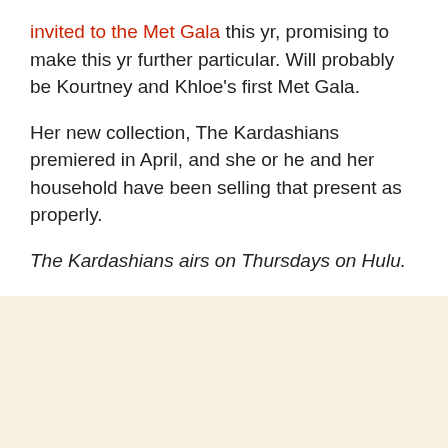invited to the Met Gala this yr, promising to make this yr further particular. Will probably be Kourtney and Khloe's first Met Gala.
Her new collection, The Kardashians premiered in April, and she or he and her household have been selling that present as properly.
The Kardashians airs on Thursdays on Hulu.